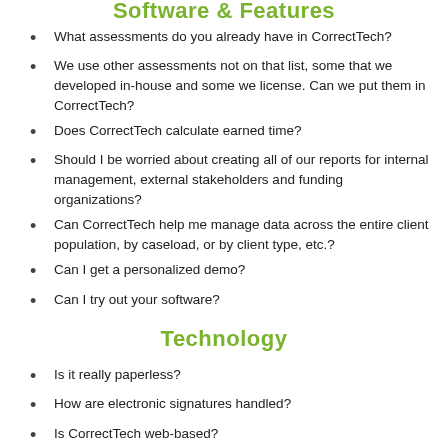Software & Features
What assessments do you already have in CorrectTech?
We use other assessments not on that list, some that we developed in-house and some we license. Can we put them in CorrectTech?
Does CorrectTech calculate earned time?
Should I be worried about creating all of our reports for internal management, external stakeholders and funding organizations?
Can CorrectTech help me manage data across the entire client population, by caseload, or by client type, etc.?
Can I get a personalized demo?
Can I try out your software?
Technology
Is it really paperless?
How are electronic signatures handled?
Is CorrectTech web-based?
Can I get to my CorrectTech system without being in the same building?